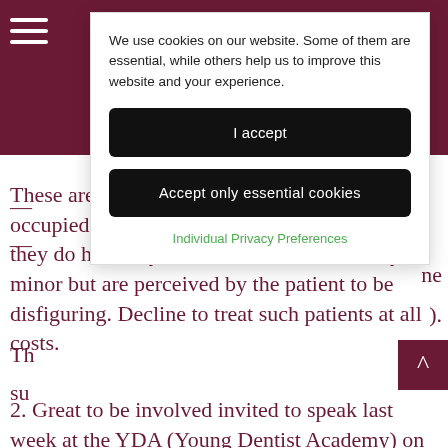[Figure (screenshot): Cookie consent modal overlay on a medical/dental website. Shows cookie notice text, 'I accept' button, 'Accept only essential cookies' button, and 'Individual Privacy Preferences' link in green.]
We use cookies on our website. Some of them are essential, while others help us to improve this website and your experience.
I accept
Accept only essential cookies
Individual Privacy Preferences
These are patients that are obsessively pre occupied with real or imaginary defects. If they do have any defects, these are normally minor but are perceived by the patient to be disfiguring. Decline to treat such patients at all costs.
2. Great to be involved invited to speak last week at the YDA (Young Dentist Academy) on getting